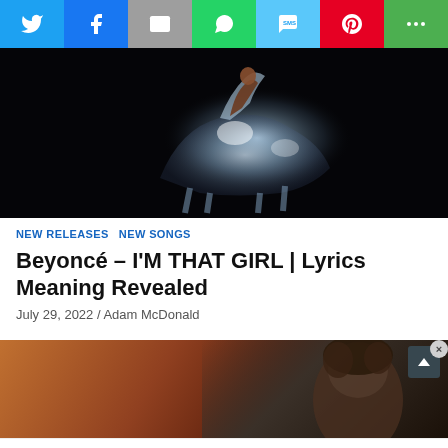[Figure (screenshot): Social media share bar with icons: Twitter (blue), Facebook (blue), Email (grey), WhatsApp (green), SMS (light blue), Pinterest (red), More (green)]
[Figure (photo): Dark hero image showing a glowing translucent glass horse on black background with a figure riding it]
NEW RELEASES  NEW SONGS
Beyoncé – I'M THAT GIRL | Lyrics Meaning Revealed
July 29, 2022 / Adam McDonald
[Figure (photo): Partial photo of a man with curly hair against a warm brown/orange background, partially obscured]
[Figure (screenshot): Wayfair advertisement banner: Top Appliances Low Prices, image of a range/oven, Save on best selling brands that live up to the hype, Shop now button]